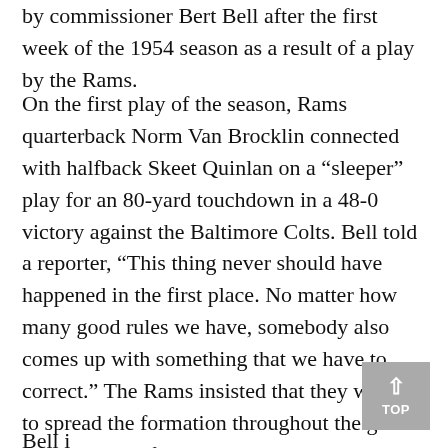by commissioner Bert Bell after the first week of the 1954 season as a result of a play by the Rams.
On the first play of the season, Rams quarterback Norm Van Brocklin connected with halfback Skeet Quinlan on a “sleeper” play for an 80-yard touchdown in a 48-0 victory against the Baltimore Colts. Bell told a reporter, “This thing never should have happened in the first place. No matter how many good rules we have, somebody also comes up with something that we have to correct.” The Rams insisted that they wanted to spread the formation throughout the game so that a wide flanker would pull a potential pass rusher away from the core. The intention was to have that receiver seen, but Van Brocklin took advantage of the blown coverage.
Bell is a play over to all 12 NFL teams as they want to be